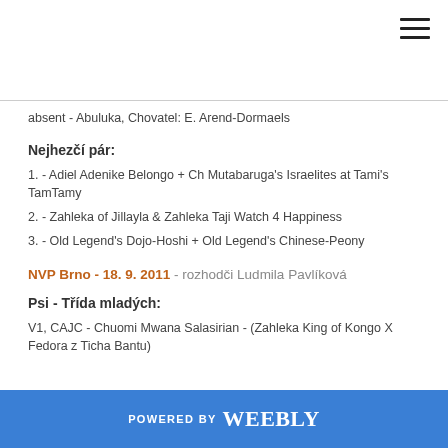absent - Abuluka, Chovatel: E. Arend-Dormaels
Nejhezčí pár:
1. - Adiel Adenike Belongo + Ch Mutabaruga's Israelites at Tami's TamTamy
2. - Zahleka of Jillayla & Zahleka Taji Watch 4 Happiness
3. - Old Legend's Dojo-Hoshi + Old Legend's Chinese-Peony
NVP Brno - 18. 9. 2011 - rozhodči Ludmila Pavlíková
Psi - Třída mladých:
V1, CAJC - Chuomi Mwana Salasirian - (Zahleka King of Kongo X Fedora z Ticha Bantu)
POWERED BY weebly